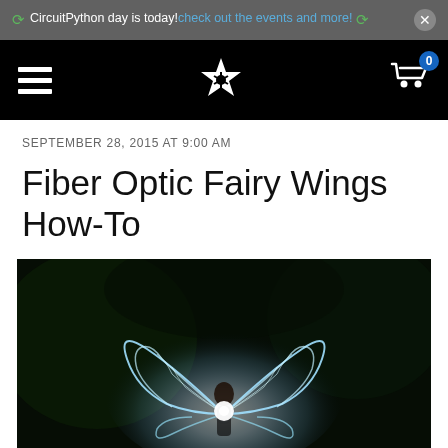CircuitPython day is today! check out the events and more!
[Figure (other): Navigation bar with hamburger menu, star/flower logo, and shopping cart with badge showing 0]
SEPTEMBER 28, 2015 AT 9:00 AM
Fiber Optic Fairy Wings How-To
[Figure (photo): Dark nighttime photograph of a person wearing glowing fiber optic fairy wings that emit white and cyan light, set against a dark wooded background]